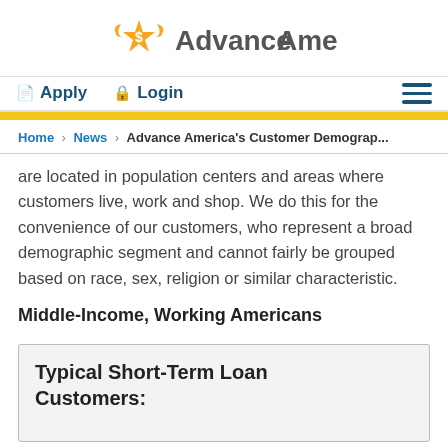Advance America
Apply  Login
Home > News > Advance America's Customer Demograp...
are located in population centers and areas where customers live, work and shop. We do this for the convenience of our customers, who represent a broad demographic segment and cannot fairly be grouped based on race, sex, religion or similar characteristic.
Middle-Income, Working Americans
Typical Short-Term Loan Customers: